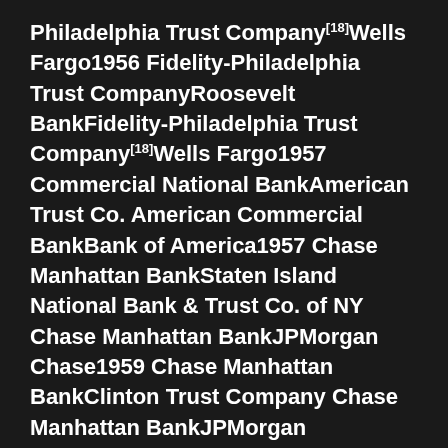Philadelphia Trust Company[18]Wells Fargo1956 Fidelity-Philadelphia Trust CompanyRoosevelt BankFidelity-Philadelphia Trust Company[18]Wells Fargo1957 Commercial National BankAmerican Trust Co. American Commercial BankBank of America1957 Chase Manhattan BankStaten Island National Bank & Trust Co. of NY Chase Manhattan BankJPMorgan Chase1959 Chase Manhattan BankClinton Trust Company Chase Manhattan BankJPMorgan Chase1959 Chemical Corn Exchange BankNew York Trust Co. Chemical Bank New York Trust Co.JPMorgan Chase1961 J. P. Morgan & Co.Guaranty Trust Co. of NY Morgan Guaranty Trust Co. of NYJPMorgan Chase1960 American Commercial BankNorth Carolina National BankNorth Carolina National BankBank of America1961 Manufacturers Trust Co. Hanover Bank Manufacturers Hanover BankJPMorgan